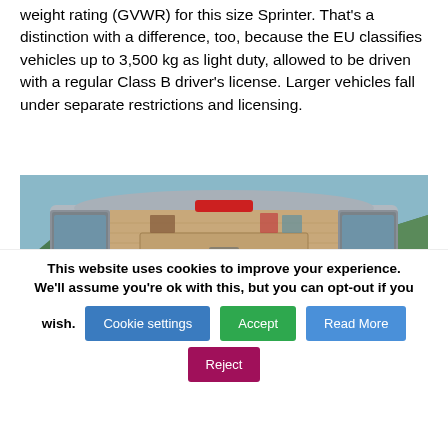weight rating (GVWR) for this size Sprinter. That's a distinction with a difference, too, because the EU classifies vehicles up to 3,500 kg as light duty, allowed to be driven with a regular Class B driver's license. Larger vehicles fall under separate restrictions and licensing.
[Figure (photo): Rear view of a camper van (Sprinter conversion) with rear doors open, showing a wooden interior with storage compartments and sleeping area, mountains visible in background]
This website uses cookies to improve your experience. We'll assume you're ok with this, but you can opt-out if you wish.